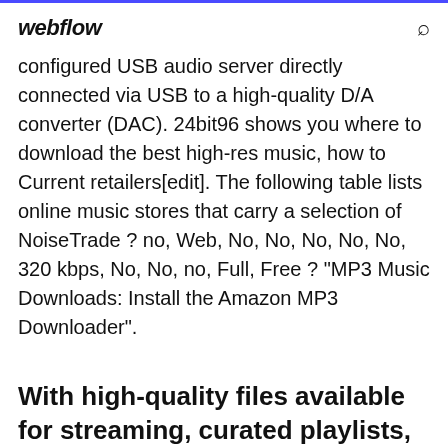webflow
configured USB audio server directly connected via USB to a high-quality D/A converter (DAC). 24bit96 shows you where to download the best high-res music, how to Current retailers[edit]. The following table lists online music stores that carry a selection of NoiseTrade ? no, Web, No, No, No, No, No, 320 kbps, No, No, no, Full, Free ? "MP3 Music Downloads: Install the Amazon MP3 Downloader".
With high-quality files available for streaming, curated playlists,